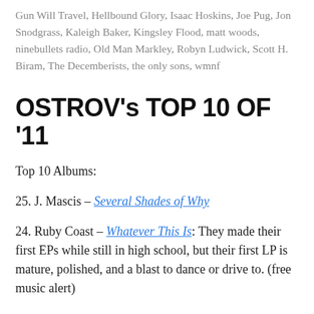Gun Will Travel, Hellbound Glory, Isaac Hoskins, Joe Pug, Jon Snodgrass, Kaleigh Baker, Kingsley Flood, matt woods, ninebullets radio, Old Man Markley, Robyn Ludwick, Scott H. Biram, The Decemberists, the only sons, wmnf
OSTROV's TOP 10 OF '11
Top 10 Albums:
25. J. Mascis – Several Shades of Why
24. Ruby Coast – Whatever This Is: They made their first EPs while still in high school, but their first LP is mature, polished, and a blast to dance or drive to. (free music alert)